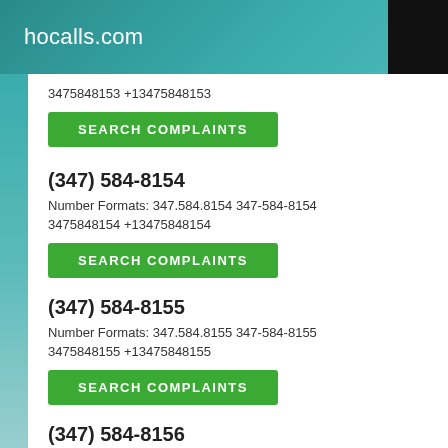hocalls.com
3475848153 +13475848153
SEARCH COMPLAINTS
(347) 584-8154
Number Formats: 347.584.8154 347-584-8154 3475848154 +13475848154
SEARCH COMPLAINTS
(347) 584-8155
Number Formats: 347.584.8155 347-584-8155 3475848155 +13475848155
SEARCH COMPLAINTS
(347) 584-8156
Number Formats: 347.584.8156 347-584-8156